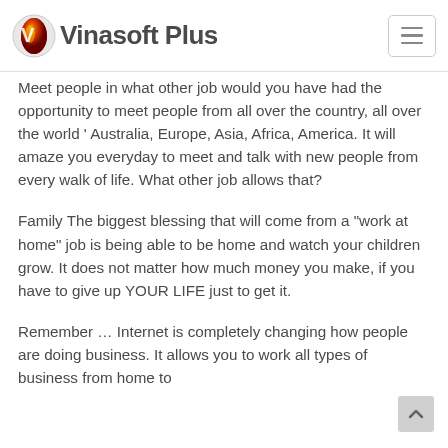Vinasoft Plus
Meet people in what other job would you have had the opportunity to meet people from all over the country, all over the world ' Australia, Europe, Asia, Africa, America. It will amaze you everyday to meet and talk with new people from every walk of life. What other job allows that?
Family The biggest blessing that will come from a "work at home" job is being able to be home and watch your children grow. It does not matter how much money you make, if you have to give up YOUR LIFE just to get it.
Remember … Internet is completely changing how people are doing business. It allows you to work all types of business from home to